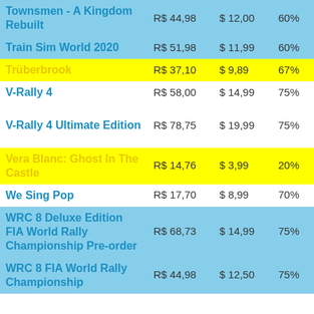| Game | BRL | USD | Disc% | Flag | Note |
| --- | --- | --- | --- | --- | --- |
| Townsmen - A Kingdom Rebuilt | RS 44,98 | $ 12,00 | 60% |  |  |
| Train Sim World 2020 | RS 51,98 | $ 11,99 | 60% |  |  |
| Trüberbrook | RS 37,10 | $ 9,89 | 67% | G |  |
| V-Rally 4 | RS 58,00 | $ 14,99 | 75% | G,X |  |
| V-Rally 4 Ultimate Edition | RS 78,75 | $ 19,99 | 75% | G,X | jogo + DLC |
| Vera Blanc: Ghost In The Castle | RS 14,76 | $ 3,99 | 20% |  |  |
| We Sing Pop | RS 17,70 | $ 8,99 | 70% |  |  |
| WRC 8 Deluxe Edition FIA World Rally Championship Pre-order | RS 68,73 | $ 14,99 | 75% | G | jogo + DLC |
| WRC 8 FIA World Rally Championship | RS 44,98 | $ 12,50 | 75% | G |  |